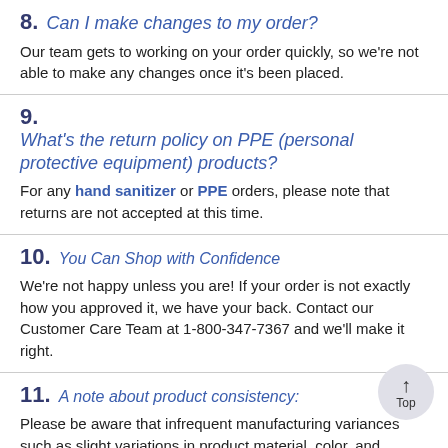8. Can I make changes to my order?
Our team gets to working on your order quickly, so we’re not able to make any changes once it’s been placed.
9. What's the return policy on PPE (personal protective equipment) products?
For any hand sanitizer or PPE orders, please note that returns are not accepted at this time.
10. You Can Shop with Confidence
We’re not happy unless you are! If your order is not exactly how you approved it, we have your back. Contact our Customer Care Team at 1-800-347-7367 and we’ll make it right.
11. A note about product consistency:
Please be aware that infrequent manufacturing variances such as slight variations in product material, color, and packaging can be expected.